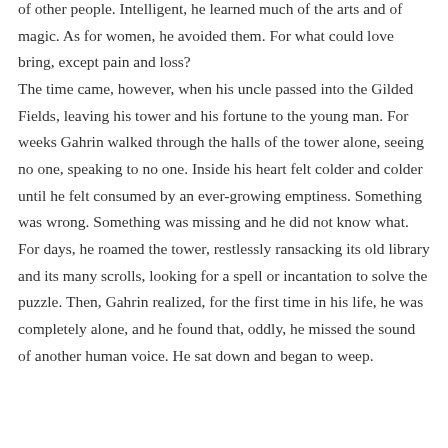of other people. Intelligent, he learned much of the arts and of magic. As for women, he avoided them. For what could love bring, except pain and loss? The time came, however, when his uncle passed into the Gilded Fields, leaving his tower and his fortune to the young man. For weeks Gahrin walked through the halls of the tower alone, seeing no one, speaking to no one. Inside his heart felt colder and colder until he felt consumed by an ever-growing emptiness. Something was wrong. Something was missing and he did not know what. For days, he roamed the tower, restlessly ransacking its old library and its many scrolls, looking for a spell or incantation to solve the puzzle. Then, Gahrin realized, for the first time in his life, he was completely alone, and he found that, oddly, he missed the sound of another human voice. He sat down and began to weep.